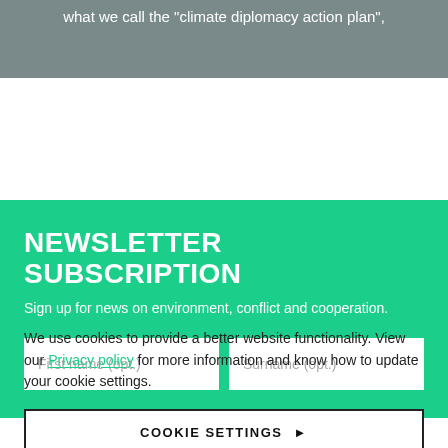[Figure (photo): Photo strip at top of page showing people, partially visible, with white text overlay reading: what we call the "climate diplomacy action plan",]
NEWSLETTER SUBSCRIPTION
Sign up for news on environment, conflict and cooperation.
We use cookies to provide a better website functionality. View our Privacy policy for more information and know how to update your cookie settings.
COOKIE SETTINGS ▶
ACCEPT ALL COOKIES